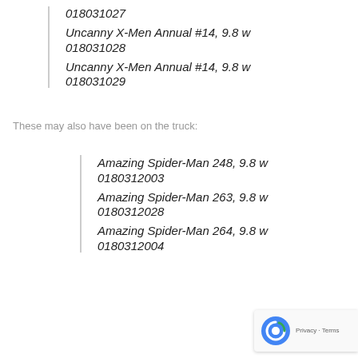018031027
Uncanny X-Men Annual #14, 9.8 w
018031028
Uncanny X-Men Annual #14, 9.8 w
018031029
These may also have been on the truck:
Amazing Spider-Man 248, 9.8 w
0180312003
Amazing Spider-Man 263, 9.8 w
0180312028
Amazing Spider-Man 264, 9.8 w
0180312004